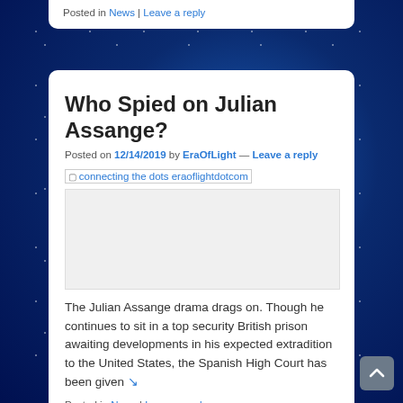Posted in News | Leave a reply
Who Spied on Julian Assange?
Posted on 12/14/2019 by EraOfLight — Leave a reply
[Figure (photo): Broken image placeholder with alt text: connecting the dots eraoflightdotcom]
The Julian Assange drama drags on. Though he continues to sit in a top security British prison awaiting developments in his expected extradition to the United States, the Spanish High Court has been given ↘
Posted in News | Leave a reply